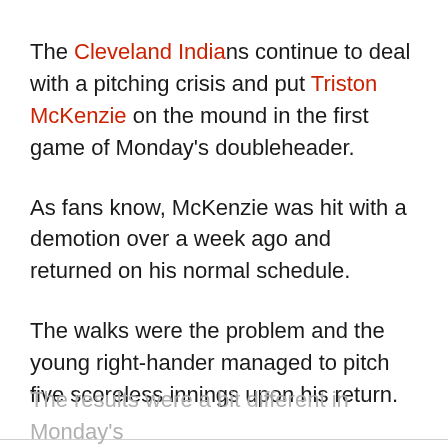The Cleveland Indians continue to deal with a pitching crisis and put Triston McKenzie on the mound in the first game of Monday's doubleheader.
As fans know, McKenzie was hit with a demotion over a week ago and returned on his normal schedule.
The walks were the problem and the young right-hander managed to pitch five scoreless innings upon his return.
The results were a bit different in Monday's